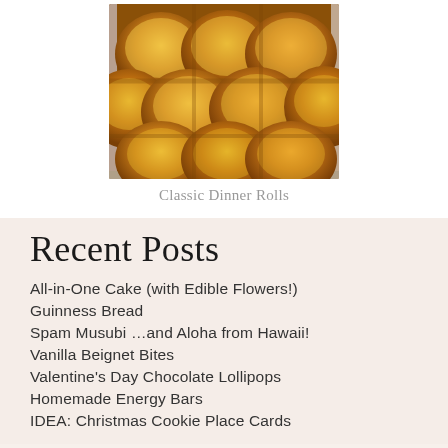[Figure (photo): Photo of golden baked dinner rolls in a baking pan, viewed from above, showing multiple round glossy rolls arranged in rows]
Classic Dinner Rolls
Recent Posts
All-in-One Cake (with Edible Flowers!)
Guinness Bread
Spam Musubi …and Aloha from Hawaii!
Vanilla Beignet Bites
Valentine's Day Chocolate Lollipops
Homemade Energy Bars
IDEA: Christmas Cookie Place Cards